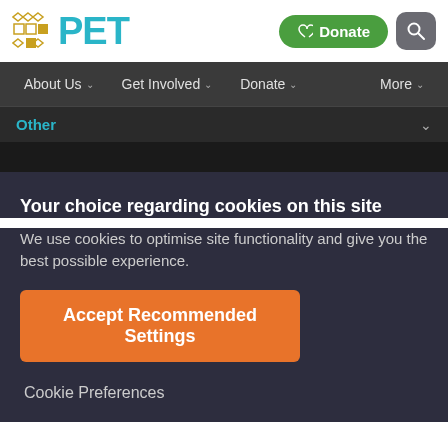PET — Donate | Search
About Us | Get Involved | Donate | More
Other
Your choice regarding cookies on this site
We use cookies to optimise site functionality and give you the best possible experience.
Accept Recommended Settings
Cookie Preferences